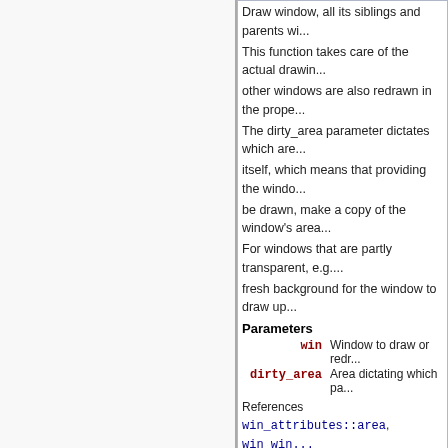Draw window, all its siblings and parents wi... This function takes care of the actual drawin... other windows are also redrawn in the prope... The dirty_area parameter dictates which are... itself, which means that providing the windo... be drawn, make a copy of the window's area... For windows that are partly transparent, e.g.... fresh background for the window to draw up...
Parameters
win - Window to draw or redr...
dirty_area - Area dictating which pa...
References win_attributes::area, win_win... win_window::parent, win_area::pos, win_... win_compute_clipping(), win_draw_child...
Referenced by win_draw_parent(), win_lo...
static void win_draw_child ( struct win_w... const struct... )
Draw child window, with automatic translatio... This function is a helper function for the win... with the child window area. Then it draws th...
Parameters
child - Child window to draw.
parent_clip - Clipping region, in glob...
References win_attributes::area, win_win... win_clip_region::SE, win_area::size, win...